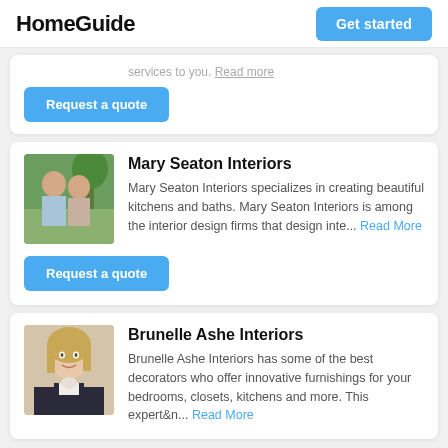HomeGuide | Get started
services to you. Read more
Request a quote
[Figure (photo): Photo of a man and woman smiling outdoors near a tree]
Mary Seaton Interiors
Mary Seaton Interiors specializes in creating beautiful kitchens and baths. Mary Seaton Interiors is among the interior design firms that design inte... Read More
Request a quote
[Figure (photo): Photo of a blonde woman smiling, wearing a dark blazer]
Brunelle Ashe Interiors
Brunelle Ashe Interiors has some of the best decorators who offer innovative furnishings for your bedrooms, closets, kitchens and more. This expert&n... Read More